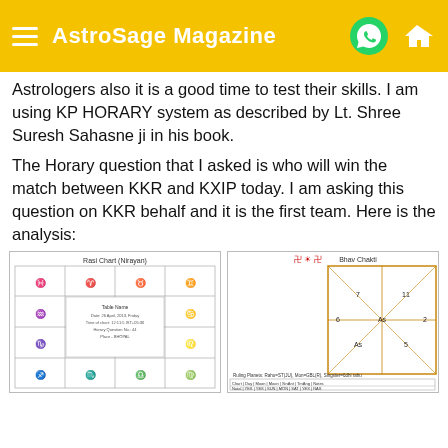AstroSage Magazine
Astrologers also it is a good time to test their skills. I am using KP HORARY system as described by Lt. Shree Suresh Sahasne ji in his book.
The Horary question that I asked is who will win the match between KKR and KXIP today. I am asking this question on KKR behalf and it is the first team. Here is the analysis:
[Figure (other): Rasi Chart (Nirayan) - a horoscope wheel chart with zodiac symbols and planetary positions in a grid layout]
[Figure (other): Bhav Chakti - a diamond-shaped Vedic astrology chart with planetary positions and a table of ruling planets below]